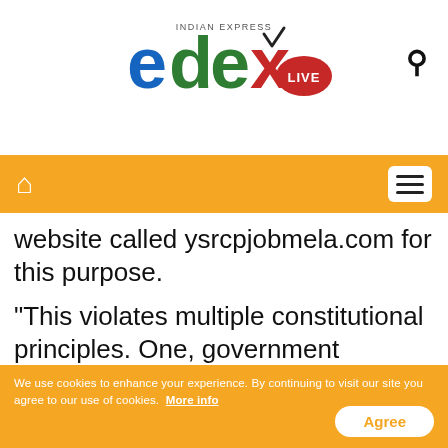[Figure (logo): EdexLive logo — Indian Express edex LIVE branding with colorful letters and red LIVE badge]
navigation bar with home icon and hamburger menu on orange background
website called ysrcpjobmela.com for this purpose.
"This violates multiple constitutional principles. One, government institutions are being utilised for a YSRCP party activity. Two, by limiting the opportunities to only YSRC party cadre and followers, the government is clearly neglecting lakhs of other graduates who remain unemployed,"
We use cookies to enhance your experience. By continuing to visit our site you agree to our use of cookies.  More info   Agree